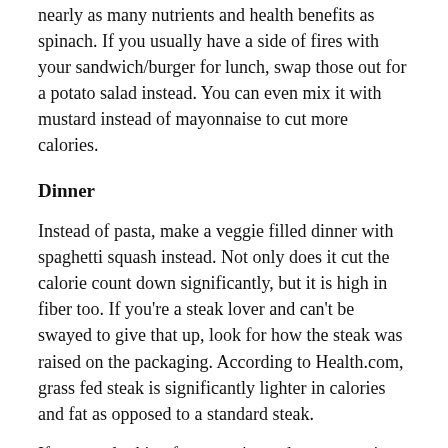nearly as many nutrients and health benefits as spinach. If you usually have a side of fires with your sandwich/burger for lunch, swap those out for a potato salad instead. You can even mix it with mustard instead of mayonnaise to cut more calories.
Dinner
Instead of pasta, make a veggie filled dinner with spaghetti squash instead. Not only does it cut the calorie count down significantly, but it is high in fiber too. If you're a steak lover and can't be swayed to give that up, look for how the steak was raised on the packaging. According to Health.com, grass fed steak is significantly lighter in calories and fat as opposed to a standard steak.
If you are looking for an easier and money saving option that can help you choose which meals are the most